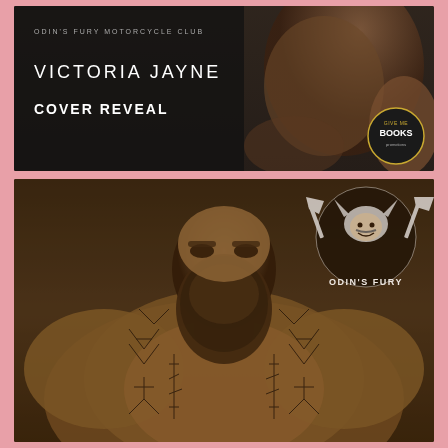[Figure (photo): Top promotional book cover reveal banner: dark moody background with muscular male torso on right side. Text reads 'ODIN'S FURY MOTORCYCLE CLUB' in small caps, 'VICTORIA JAYNE' in large spaced white letters, 'COVER REVEAL' in bold white. Give Me Books promotional logo badge bottom right corner.]
[Figure (photo): Large book cover image: heavily muscular shirtless bearded man with runic tattoos covering chest and shoulders, looking downward with intense expression. Dark sepia/brown toned background. Odin's Fury motorcycle club logo (viking warrior with crossed axes) in upper right corner with white text 'ODIN'S FURY' in arc below.]